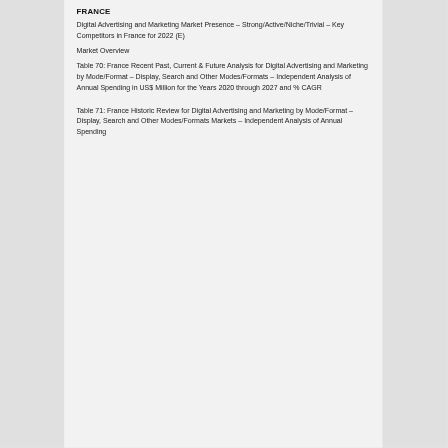FRANCE
Digital Advertising and Marketing Market Presence – Strong/Active/Niche/Trivial – Key Competitors in France for 2022 (E)
Market Overview
Table 70: France Recent Past, Current & Future Analysis for Digital Advertising and Marketing by Mode/Format – Display, Search and Other Modes/Formats – Independent Analysis of Annual Spending in US$ Million for the Years 2020 through 2027 and % CAGR
Table 71: France Historic Review for Digital Advertising and Marketing by Mode/Format – Display, Search and Other Modes/Formats Markets – Independent Analysis of Annual Spending